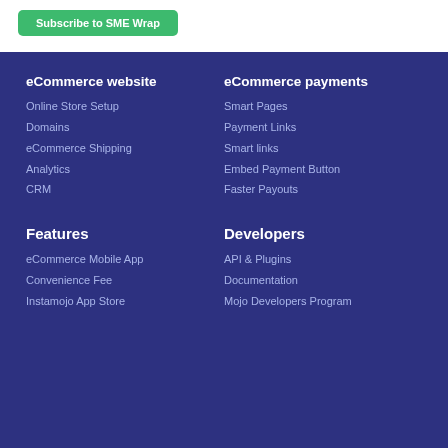Subscribe to SME Wrap
eCommerce website
Online Store Setup
Domains
eCommerce Shipping
Analytics
CRM
eCommerce payments
Smart Pages
Payment Links
Smart links
Embed Payment Button
Faster Payouts
Features
eCommerce Mobile App
Convenience Fee
Instamojo App Store
Developers
API & Plugins
Documentation
Mojo Developers Program
Webhooks